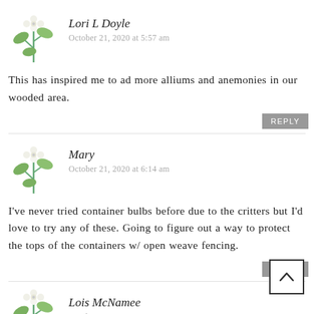[Figure (illustration): Small decorative flower/clover plant illustration used as avatar for Lori L Doyle]
Lori L Doyle
October 21, 2020 at 5:57 am
This has inspired me to ad more alliums and anemonies in our wooded area.
REPLY
[Figure (illustration): Small decorative flower/clover plant illustration used as avatar for Mary]
Mary
October 21, 2020 at 6:14 am
I've never tried container bulbs before due to the critters but I'd love to try any of these. Going to figure out a way to protect the tops of the containers w/ open weave fencing.
REPLY
[Figure (illustration): Small decorative flower/clover plant illustration used as avatar for Lois McNamee]
Lois McNamee
October 21, 2020 at 1:19 pm